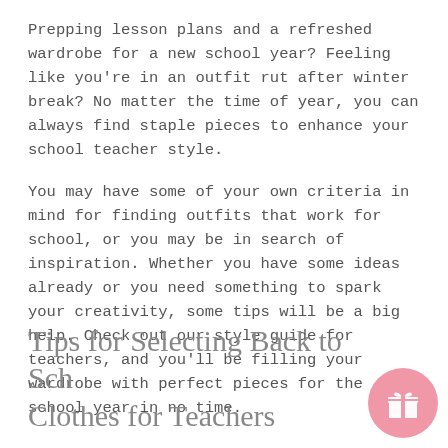Prepping lesson plans and a refreshed wardrobe for a new school year? Feeling like you're in an outfit rut after winter break? No matter the time of year, you can always find staple pieces to enhance your school teacher style.
You may have some of your own criteria in mind for finding outfits that work for school, or you may be in search of inspiration. Whether you have some ideas already or you need something to spark your creativity, some tips will be a big help. Check out our style guide for teachers, and you'll be filling your wardrobe with perfect pieces for the school year in no time.
Tips for Selecting Back to School Clothes for Teachers